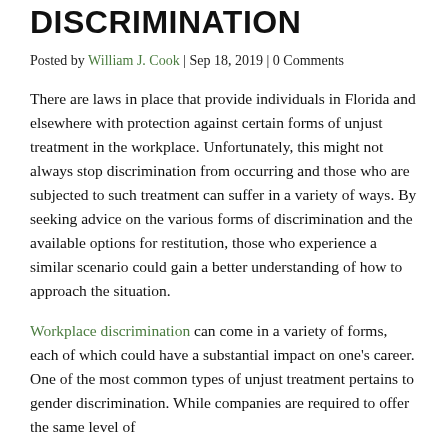DISCRIMINATION
Posted by William J. Cook | Sep 18, 2019 | 0 Comments
There are laws in place that provide individuals in Florida and elsewhere with protection against certain forms of unjust treatment in the workplace. Unfortunately, this might not always stop discrimination from occurring and those who are subjected to such treatment can suffer in a variety of ways. By seeking advice on the various forms of discrimination and the available options for restitution, those who experience a similar scenario could gain a better understanding of how to approach the situation.
Workplace discrimination can come in a variety of forms, each of which could have a substantial impact on one's career. One of the most common types of unjust treatment pertains to gender discrimination. While companies are required to offer the same level of